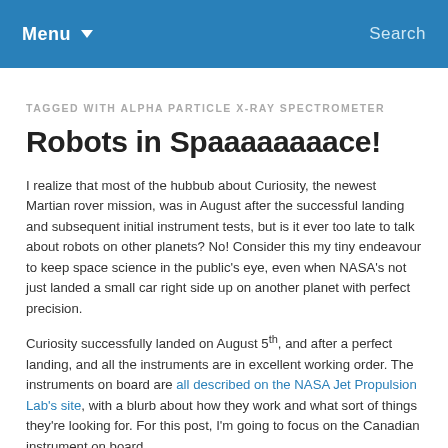Menu ▼   Search
TAGGED WITH ALPHA PARTICLE X-RAY SPECTROMETER
Robots in Spaaaaaaaace!
I realize that most of the hubbub about Curiosity, the newest Martian rover mission, was in August after the successful landing and subsequent initial instrument tests, but is it ever too late to talk about robots on other planets? No! Consider this my tiny endeavour to keep space science in the public's eye, even when NASA's not just landed a small car right side up on another planet with perfect precision.
Curiosity successfully landed on August 5th, and after a perfect landing, and all the instruments are in excellent working order. The instruments on board are all described on the NASA Jet Propulsion Lab's site, with a blurb about how they work and what sort of things they're looking for. For this post, I'm going to focus on the Canadian instrument on board.
The Alpha Particle X-ray Spectrometer, or APXS, is the only all-Canadian contribution to the mission. It's designed by Ralf Gellert, a